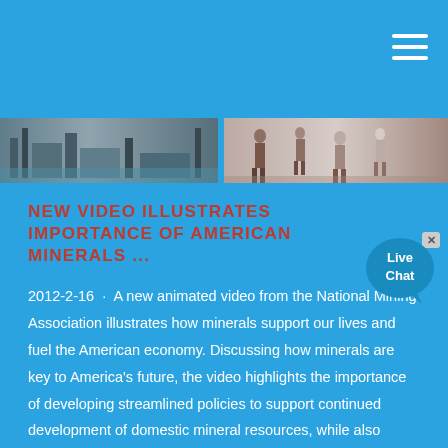[Figure (photo): Photo strip showing industrial/mining facility on the left and people walking on the right]
NEW VIDEO ILLUSTRATES IMPORTANCE OF AMERICAN MINERALS ...
2012-2-16 · A new animated video from the National Mining Association illustrates how minerals support our lives and fuel the American economy. Discussing how minerals are key to America's future, the video highlights the importance of developing streamlined policies to support continued development of domestic mineral resources, while also touting the importance of minerals mining in U.S. job...
Join Us now